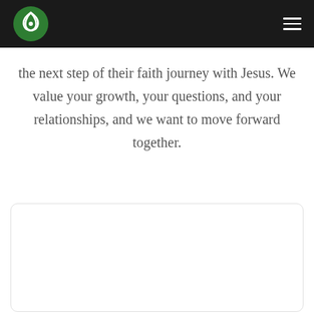[Church logo and navigation header]
the next step of their faith journey with Jesus. We value your growth, your questions, and your relationships, and we want to move forward together.
[Figure (illustration): Rounded rectangle card with a green wavy water/baptism icon at the bottom left]